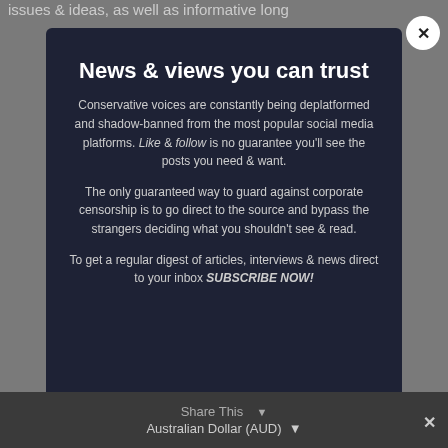issues & ideas, as well as informative long
[Figure (screenshot): Modal popup with dark navy background containing subscription call-to-action text. A white circular close button with X is in the top right corner.]
News & views you can trust
Conservative voices are constantly being deplatformed and shadow-banned from the most popular social media platforms. Like & follow is no guarantee you'll see the posts you need & want.
The only guaranteed way to guard against corporate censorship is to go direct to the source and bypass the strangers deciding what you shouldn't see & read.
To get a regular digest of articles, interviews & news direct to your inbox SUBSCRIBE NOW!
Share This  ∨    Australian Dollar (AUD)  ∨